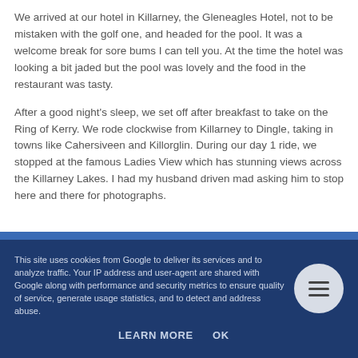We arrived at our hotel in Killarney, the Gleneagles Hotel, not to be mistaken with the golf one, and headed for the pool. It was a welcome break for sore bums I can tell you. At the time the hotel was looking a bit jaded but the pool was lovely and the food in the restaurant was tasty.
After a good night's sleep, we set off after breakfast to take on the Ring of Kerry. We rode clockwise from Killarney to Dingle, taking in towns like Cahersiveen and Killorglin. During our day 1 ride, we stopped at the famous Ladies View which has stunning views across the Killarney Lakes. I had my husband driven mad asking him to stop here and there for photographs.
This site uses cookies from Google to deliver its services and to analyze traffic. Your IP address and user-agent are shared with Google along with performance and security metrics to ensure quality of service, generate usage statistics, and to detect and address abuse.
LEARN MORE   OK